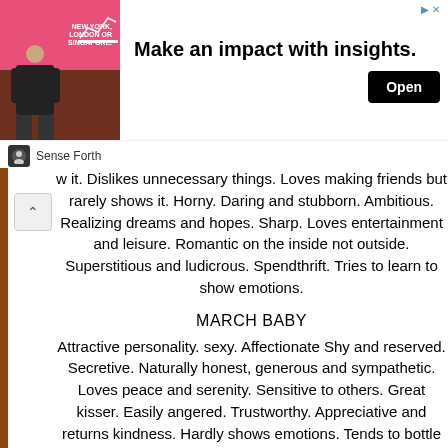[Figure (infographic): Advertisement banner showing a person with text 'NEW YORK, LONDON OR SINGAPORE.' Make an impact with insights. Open button. Sponsored by Sense Forth.]
w it. Dislikes unnecessary things. Loves making friends but rarely shows it. Horny. Daring and stubborn. Ambitious. Realizing dreams and hopes. Sharp. Loves entertainment and leisure. Romantic on the inside not outside. Superstitious and ludicrous. Spendthrift. Tries to learn to show emotions.
MARCH BABY
Attractive personality. sexy. Affectionate Shy and reserved. Secretive. Naturally honest, generous and sympathetic. Loves peace and serenity. Sensitive to others. Great kisser. Easily angered. Trustworthy. Appreciative and returns kindness. Hardly shows emotions. Tends to bottle up feelings. Observant and assesses others.